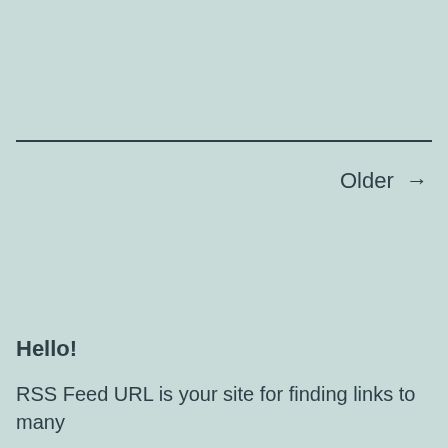Older →
Hello!
RSS Feed URL is your site for finding links to many